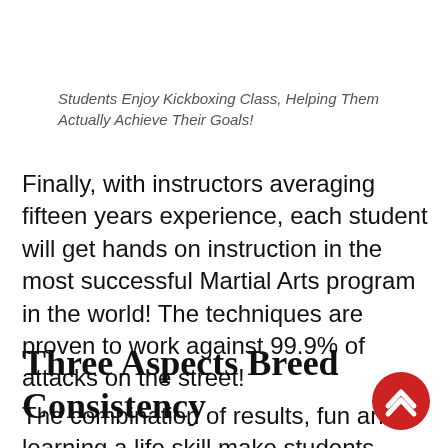Students Enjoy Kickboxing Class, Helping Them Actually Achieve Their Goals!
Finally, with instructors averaging fifteen years experience, each student will get hands on instruction in the most successful Martial Arts program in the world! The techniques are proven to work against 99.9% of attacks on the street!
Three Aspects Breed Consistency
The combination of results, fun and learning a life skill make students stay with their